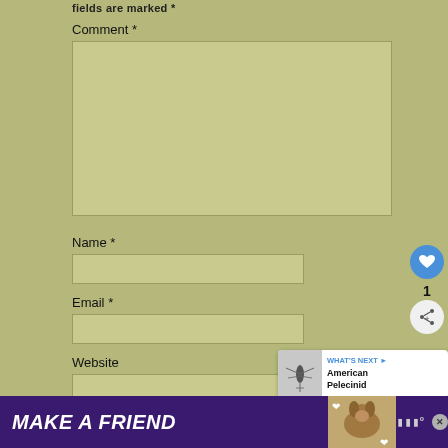fields are marked *
Comment *
Name *
Email *
Website
Save my name, email, and website in this browser
[Figure (infographic): Blue circular heart/like button icon]
1
[Figure (infographic): White circular share button icon]
[Figure (infographic): What's Next box with image of mosquito and text 'American Pelecinid']
[Figure (infographic): Bottom advertisement banner: purple background with 'MAKE A FRIEND' text, dog illustration, heart icon, close button, and Wm logo]